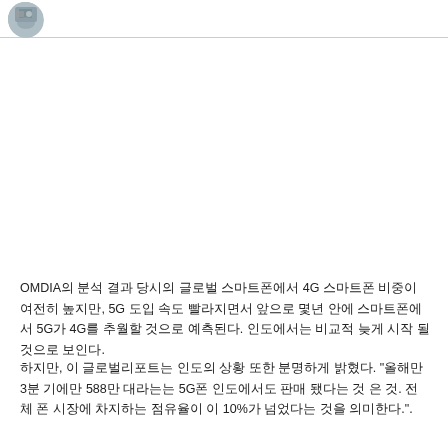[avatar/profile image]
[Figure (photo): Circular avatar/profile photo of a person, partially visible at top left]
OMDIA의 분석 결과 당시의 글로벌 스마트폰에서 4G 스마트폰 비중이여전히 높지만, 5G 도입 속도 빨라지면서 앞으로 몇년 안에 스마트폰에서 5G가 4G를 추월할 것으로 예측된다. 인도에서는 비교적 늦게 시작 될 것으로 보인다.
하지만, 이 글로벌리포트는 인도의 상황 또한 분명하게 밝혔다. "올해만 3분 기에만 588만 대라는는 5G폰 인도에서도 판매 됐다는 것 은 것. 전체 폰 시장에 차지하는 점유율이 이 10%가 넘었다는 것을 의미한다.".